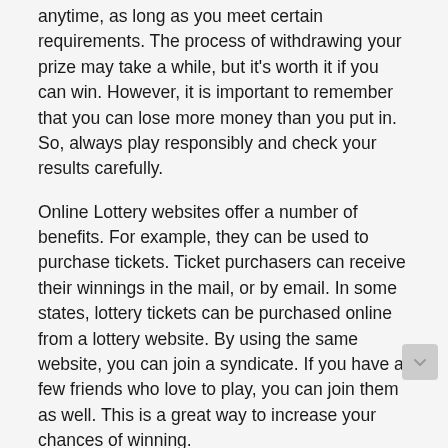anytime, as long as you meet certain requirements. The process of withdrawing your prize may take a while, but it's worth it if you can win. However, it is important to remember that you can lose more money than you put in. So, always play responsibly and check your results carefully.
Online Lottery websites offer a number of benefits. For example, they can be used to purchase tickets. Ticket purchasers can receive their winnings in the mail, or by email. In some states, lottery tickets can be purchased online from a lottery website. By using the same website, you can join a syndicate. If you have a few friends who love to play, you can join them as well. This is a great way to increase your chances of winning.
In addition to a traditional lottery, many online lottery websites offer scratch-off tickets. These are digital versions of traditional lottery cards. The player selects